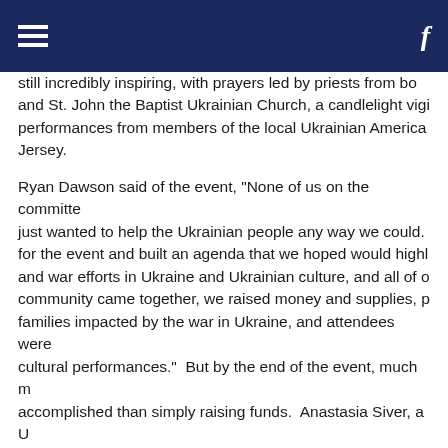[hamburger menu] [facebook icon]
still incredibly inspiring, with prayers led by priests from both and St. John the Baptist Ukrainian Church, a candlelight vigil, and performances from members of the local Ukrainian American community in New Jersey.
Ryan Dawson said of the event, "None of us on the committee just wanted to help the Ukrainian people any way we could. We planned for the event and built an agenda that we hoped would highlight the war and war efforts in Ukraine and Ukrainian culture, and all of our community came together, we raised money and supplies, provided for families impacted by the war in Ukraine, and attendees were treated to cultural performances." But by the end of the event, much more was accomplished than simply raising funds. Anastasia Siver, a Ukrainian who moved to Morristown, NJ and whose parents' home near Bucha was taken by the invading Russians, spoke of how Morristown for Ukraine made her feel she wasn't expecting to feel such support from a community so far the way over in Ukraine. The support of her community was a moving experience, and allowed her and others to feel a sense of belonging.